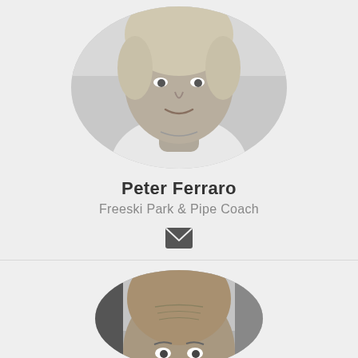[Figure (photo): Circular cropped black-and-white headshot of a young person with light hair and a slight smile, wearing a white top.]
Peter Ferraro
Freeski Park & Pipe Coach
[Figure (illustration): Dark grey envelope/mail icon.]
[Figure (photo): Circular cropped black-and-white headshot of an older man with a bald/closely shaved head, looking forward, showing wrinkles on forehead.]